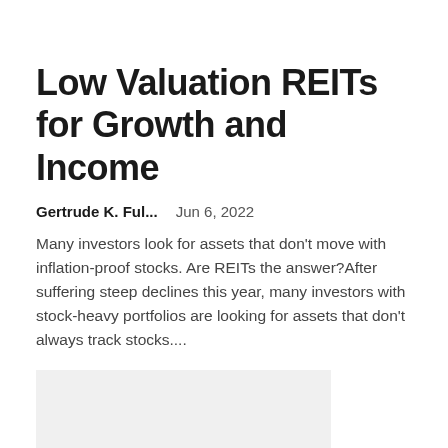Low Valuation REITs for Growth and Income
Gertrude K. Ful...    Jun 6, 2022
Many investors look for assets that don't move with inflation-proof stocks. Are REITs the answer?After suffering steep declines this year, many investors with stock-heavy portfolios are looking for assets that don't always track stocks....
[Figure (photo): Gray placeholder image block]